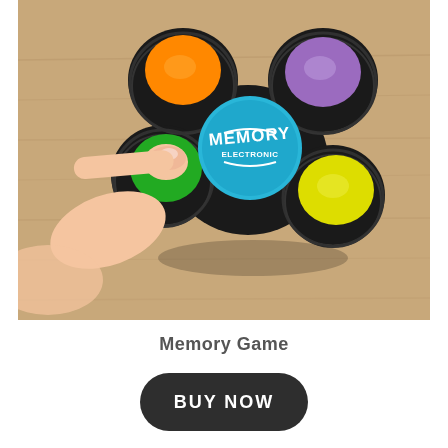[Figure (photo): A hand pressing the green button on a Memory Game electronic device. The device is black with four colored buttons: orange (top-left), purple (top-right), green (left), and yellow (right). The center shows the 'Memory' logo on a teal/blue circle. The device sits on a wooden surface.]
Memory Game
BUY NOW